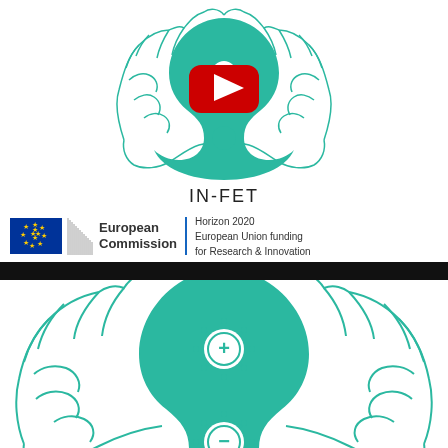[Figure (logo): IN-FET yin-yang brain logo with YouTube play button overlay in teal/green color scheme, top half]
IN-FET
[Figure (logo): European Commission logo with EU flag and building symbol, plus Horizon 2020 European Union funding for Research & Innovation text]
[Figure (illustration): IN-FET yin-yang brain logo large version with plus and minus neuron/virus symbols in teal, bottom half of page]